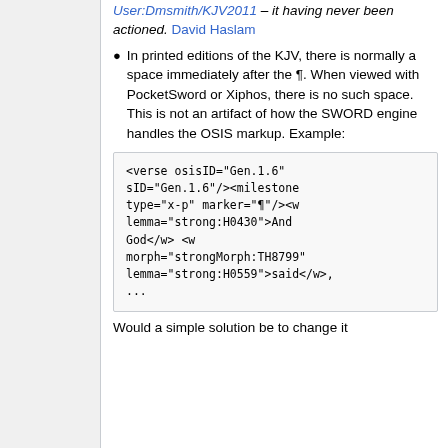User:Dmsmith/KJV2011 – it having never been actioned. David Haslam
In printed editions of the KJV, there is normally a space immediately after the ¶. When viewed with PocketSword or Xiphos, there is no such space.
This is not an artifact of how the SWORD engine handles the OSIS markup. Example:
[Figure (screenshot): Code block showing OSIS XML markup: <verse osisID="Gen.1.6" sID="Gen.1.6"/><milestone type="x-p" marker="¶"/><w lemma="strong:H0430">And God</w> <w morph="strongMorph:TH8799" lemma="strong:H0559">said</w>, ...]
Would a simple solution be to change it